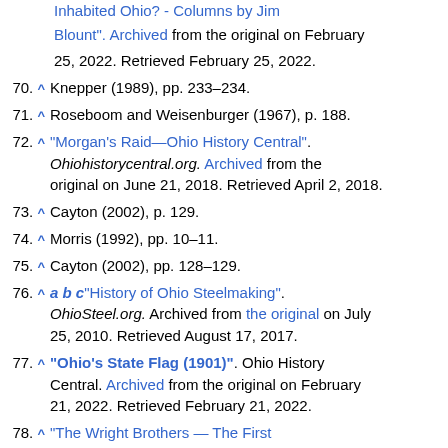(continued top) "Inhabited Ohio? - Columns by Jim Blount". Archived from the original on February 25, 2022. Retrieved February 25, 2022.
70. ^ Knepper (1989), pp. 233–234.
71. ^ Roseboom and Weisenburger (1967), p. 188.
72. ^ "Morgan's Raid—Ohio History Central". Ohiohistorycentral.org. Archived from the original on June 21, 2018. Retrieved April 2, 2018.
73. ^ Cayton (2002), p. 129.
74. ^ Morris (1992), pp. 10–11.
75. ^ Cayton (2002), pp. 128–129.
76. ^ a b c "History of Ohio Steelmaking". OhioSteel.org. Archived from the original on July 25, 2010. Retrieved August 17, 2017.
77. ^ "Ohio's State Flag (1901)". Ohio History Central. Archived from the original on February 21, 2022. Retrieved February 21, 2022.
78. ^ "The Wright Brothers — The First...